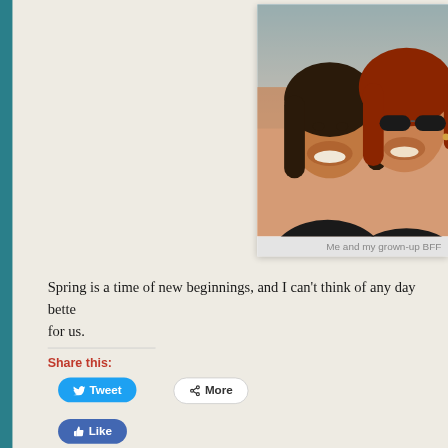[Figure (photo): Two women smiling together outdoors in warm golden light. One has dark hair, the other has reddish hair and is wearing sunglasses.]
Me and my grown-up BFF
Spring is a time of new beginnings, and I can't think of any day better for us.
Share this: